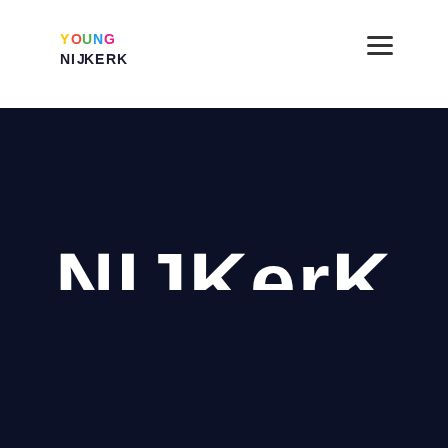[Figure (logo): Young Nijkerk logo with colorful letters Y-O-U-N-G above N-I-J-K-E-R-K in black]
[Figure (illustration): Hamburger menu icon (three horizontal lines) in top right of nav bar]
[Figure (illustration): Large white NIJKERK wordmark text on dark navy background hero section]
Young Nijkerk gebruikt cookies voor de functionaliteit van de website. Lees meer
Cookie settings